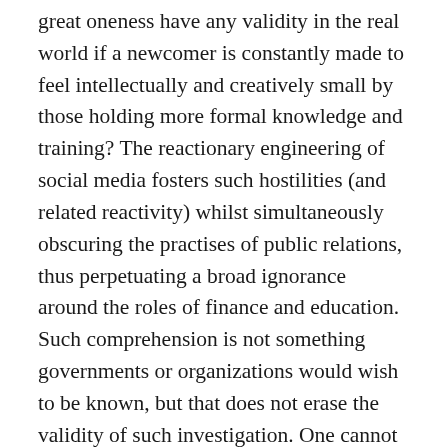great oneness have any validity in the real world if a newcomer is constantly made to feel intellectually and creatively small by those holding more formal knowledge and training? The reactionary engineering of social media fosters such hostilities (and related reactivity) whilst simultaneously obscuring the practises of public relations, thus perpetuating a broad ignorance around the roles of finance and education. Such comprehension is not something governments or organizations would wish to be known, but that does not erase the validity of such investigation. One cannot simply shout “They are cancelling Russian artists!” without understanding the true mechanisms which have largely driven such cancellations; I would wager that they are less driven by xenophobia than by economics